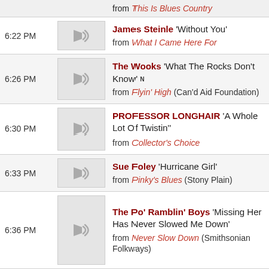6:22 PM — James Steinle 'Without You' from What I Came Here For
6:26 PM — The Wooks 'What The Rocks Don't Know' N from Flyin' High (Can'd Aid Foundation)
6:30 PM — PROFESSOR LONGHAIR 'A Whole Lot Of Twistin'' from Collector's Choice
6:33 PM — Sue Foley 'Hurricane Girl' from Pinky's Blues (Stony Plain)
6:36 PM — The Po' Ramblin' Boys 'Missing Her Has Never Slowed Me Down' from Never Slow Down (Smithsonian Folkways)